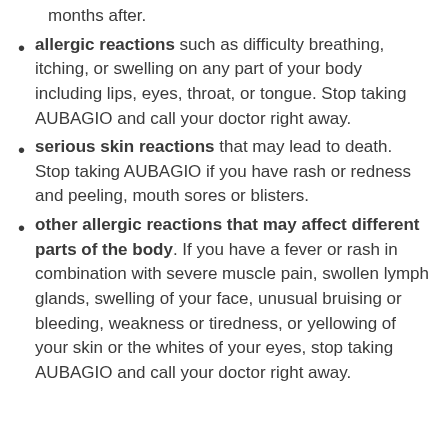months after.
allergic reactions such as difficulty breathing, itching, or swelling on any part of your body including lips, eyes, throat, or tongue. Stop taking AUBAGIO and call your doctor right away.
serious skin reactions that may lead to death. Stop taking AUBAGIO if you have rash or redness and peeling, mouth sores or blisters.
other allergic reactions that may affect different parts of the body. If you have a fever or rash in combination with severe muscle pain, swollen lymph glands, swelling of your face, unusual bruising or bleeding, weakness or tiredness, or yellowing of your skin or the whites of your eyes, stop taking AUBAGIO and call your doctor right away.